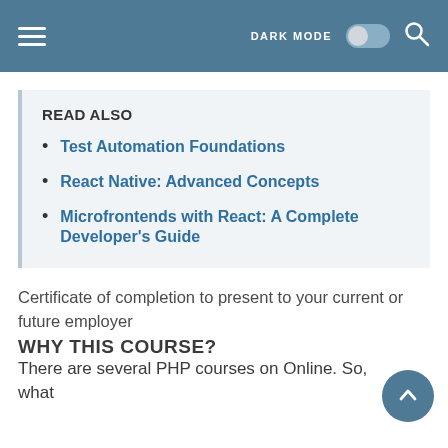DARK MODE [toggle] [search]
READ ALSO
Test Automation Foundations
React Native: Advanced Concepts
Microfrontends with React: A Complete Developer's Guide
Certificate of completion to present to your current or future employer
WHY THIS COURSE?
There are several PHP courses on Online. So, what